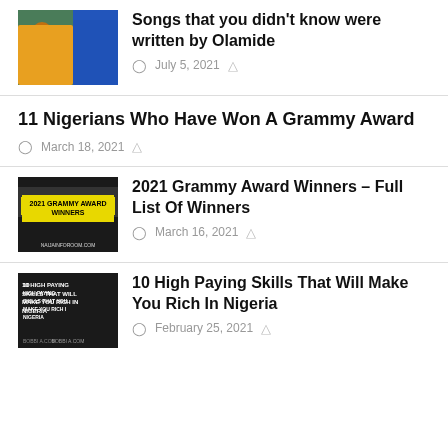[Figure (photo): Two men photo thumbnail for Olamide article]
Songs that you didn't know were written by Olamide
July 5, 2021
11 Nigerians Who Have Won A Grammy Award
March 18, 2021
[Figure (photo): 2021 Grammy Award Winners thumbnail with yellow banner]
2021 Grammy Award Winners – Full List Of Winners
March 16, 2021
[Figure (photo): 10 High Paying Skills thumbnail]
10 High Paying Skills That Will Make You Rich In Nigeria
February 25, 2021